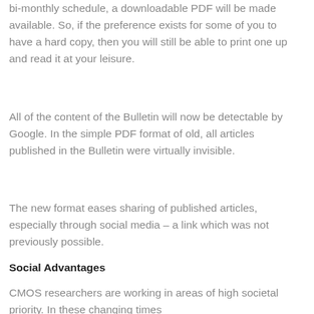bi-monthly schedule, a downloadable PDF will be made available. So, if the preference exists for some of you to have a hard copy, then you will still be able to print one up and read it at your leisure.
All of the content of the Bulletin will now be detectable by Google. In the simple PDF format of old, all articles published in the Bulletin were virtually invisible.
The new format eases sharing of published articles, especially through social media – a link which was not previously possible.
Social Advantages
CMOS researchers are working in areas of high societal priority. In these changing times